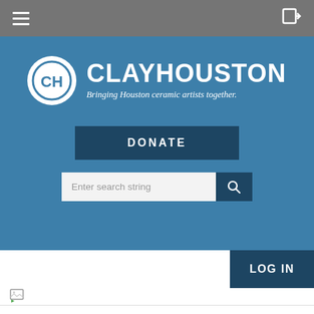[Figure (screenshot): Navigation bar with hamburger menu icon on the left and login arrow icon on the right, grey background]
[Figure (logo): ClayHouston logo with CH circle emblem and text 'CLAYHOUSTON' with tagline 'Bringing Houston ceramic artists together.' on blue background]
DONATE
Enter search string
LOG IN
[Figure (other): Broken image placeholder with green arrow icon]